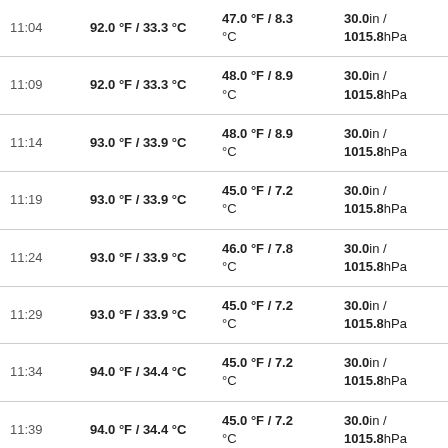| Time | Temp | Dew Point | Pressure | Wind |
| --- | --- | --- | --- | --- |
| 11:04 | 92.0 °F / 33.3 °C | 47.0 °F / 8.3 °C | 30.0in / 1015.8hPa | SSE |
| 11:09 | 92.0 °F / 33.3 °C | 48.0 °F / 8.9 °C | 30.0in / 1015.8hPa | SSW |
| 11:14 | 93.0 °F / 33.9 °C | 48.0 °F / 8.9 °C | 30.0in / 1015.8hPa | South |
| 11:19 | 93.0 °F / 33.9 °C | 45.0 °F / 7.2 °C | 30.0in / 1015.8hPa | SSW |
| 11:24 | 93.0 °F / 33.9 °C | 46.0 °F / 7.8 °C | 30.0in / 1015.8hPa | SSW |
| 11:29 | 93.0 °F / 33.9 °C | 45.0 °F / 7.2 °C | 30.0in / 1015.8hPa | SSE |
| 11:34 | 94.0 °F / 34.4 °C | 45.0 °F / 7.2 °C | 30.0in / 1015.8hPa | South |
| 11:39 | 94.0 °F / 34.4 °C | 45.0 °F / 7.2 °C | 30.0in / 1015.8hPa | SW |
| 11:44 | 94.0 °F / 34.4 °C | 47.0 °F / 8.3 °C | 30.0in / 1015.8hPa | SE |